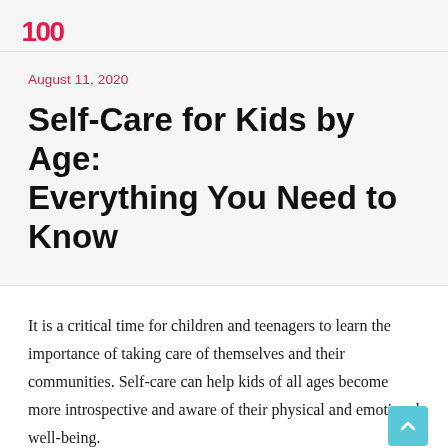100 [logo]
August 11, 2020
Self-Care for Kids by Age: Everything You Need to Know
It is a critical time for children and teenagers to learn the importance of taking care of themselves and their communities. Self-care can help kids of all ages become more introspective and aware of their physical and emotional well-being.